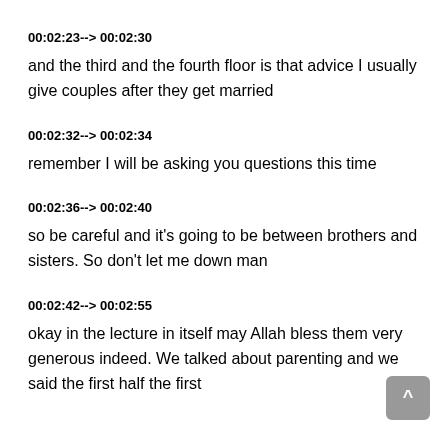00:02:23--> 00:02:30
and the third and the fourth floor is that advice I usually give couples after they get married
00:02:32--> 00:02:34
remember I will be asking you questions this time
00:02:36--> 00:02:40
so be careful and it's going to be between brothers and sisters. So don't let me down man
00:02:42--> 00:02:55
okay in the lecture in itself may Allah bless them very generous indeed. We talked about parenting and we said the first half the first